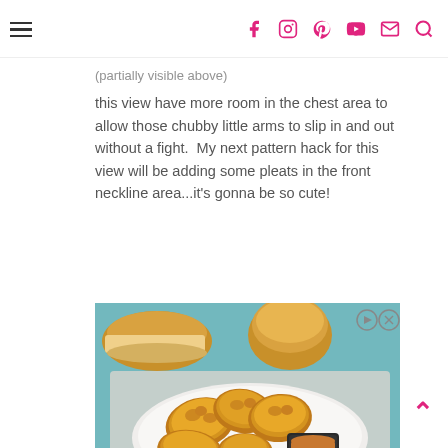Social media navigation bar with hamburger menu and icons for Facebook, Instagram, Pinterest, YouTube, Email, Search
this view have more room in the chest area to allow those chubby little arms to slip in and out without a fight.  My next pattern hack for this view will be adding some pleats in the front neckline area...it's gonna be so cute!
[Figure (photo): Advertisement showing fried chicken pieces with dipping sauce and bread rolls on a teal/blue background]